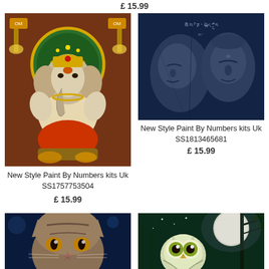£ 15.99
[Figure (photo): Colorful illustration of Lord Ganesha with golden ornaments, green halo, seated on a throne with offerings]
New Style Paint By Numbers kits Uk SS1757753504
£ 15.99
[Figure (photo): Dark blue-toned stone carving of two Buddha faces]
New Style Paint By Numbers kits Uk SS1813465681
£ 15.99
[Figure (photo): Close-up photograph of a tabby cat with golden eyes on a dark blue background]
[Figure (photo): Illustration of a cartoon owl with large eyes in a moonlit forest scene]